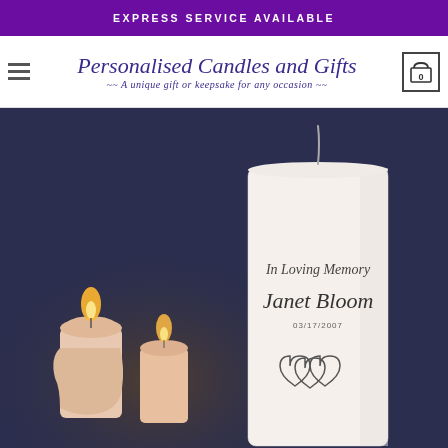EXPRESS SERVICE AVAILABLE
[Figure (logo): Personalised Candles and Gifts logo with tagline: A unique gift or keepsake for any occasion]
[Figure (photo): Product photo showing personalised memorial candles. Tall white pillar candle in front with text 'In Loving Memory Janet Bloom' and a date, with heart decorations. Smaller pink lit candles in the background on a dark navy background.]